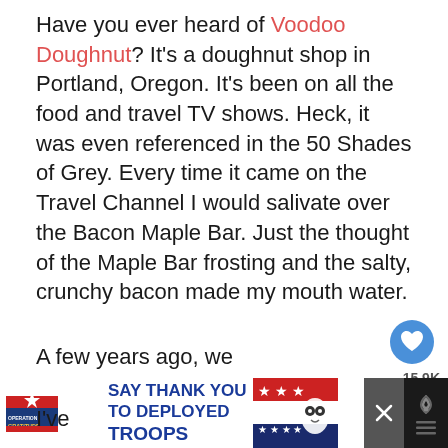Have you ever heard of Voodoo Doughnut? It's a doughnut shop in Portland, Oregon. It's been on all the food and travel TV shows. Heck, it was even referenced in the 50 Shades of Grey. Every time it came on the Travel Channel I would salivate over the Bacon Maple Bar. Just the thought of the Maple Bar frosting and the salty, crunchy bacon made my mouth water.
A few years ago, we happened to be in Portland after visiting my parents at their house in Maple... (aptly named for this post, methinks). Of course, ... required a stop at Voodoo Doughnut! A ... learned there:
[Figure (screenshot): UI elements: heart/like button (blue circle with heart icon), count label '15.9K', share icon, 'WHAT'S NEXT' panel with thumbnail and text 'Cinnamon Roll Sausage Rolls']
[Figure (screenshot): Advertisement banner: Operation Gratitude logo with text 'SAY THANK YOU TO DEPLOYED TROOPS', patriotic imagery with stars and cartoon character, close X button, dark right section with signal/wifi icon]